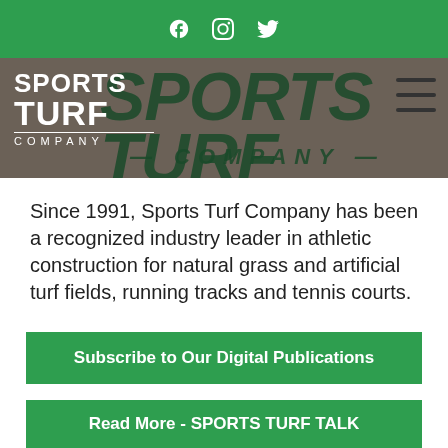Sports Turf Company - social media icons (Facebook, Instagram, Twitter)
[Figure (logo): Sports Turf Company logo overlaid on grey hero banner with large italic SPORTS TURF COMPANY text]
Since 1991, Sports Turf Company has been a recognized industry leader in athletic construction for natural grass and artificial turf fields, running tracks and tennis courts.
Subscribe to Our Digital Publications
Read More - SPORTS TURF TALK